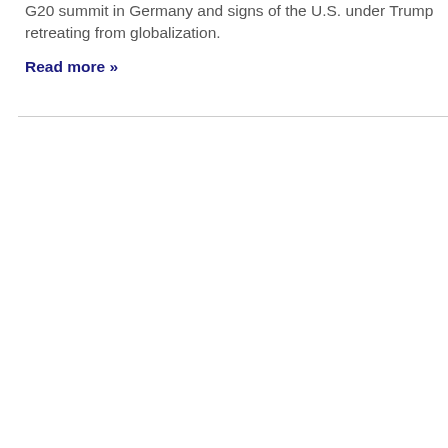G20 summit in Germany and signs of the U.S. under Trump retreating from globalization.
Read more »